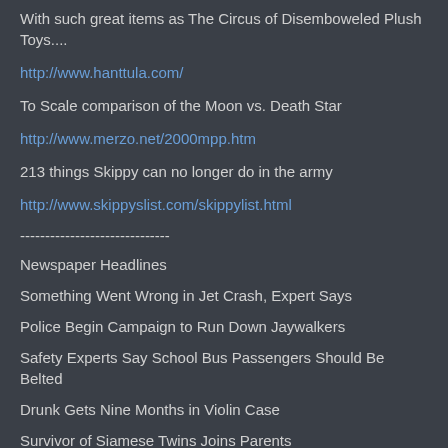With such great items as The Circus of Disemboweled Plush Toys....
http://www.hanttula.com/
To Scale comparison of the Moon vs. Death Star
http://www.merzo.net/2000mpp.htm
213 things Skippy can no longer do in the army
http://www.skippyslist.com/skippylist.html
------------------------------
Newspaper Headlines
Something Went Wrong in Jet Crash, Expert Says
Police Begin Campaign to Run Down Jaywalkers
Safety Experts Say School Bus Passengers Should Be Belted
Drunk Gets Nine Months in Violin Case
Survivor of Siamese Twins Joins Parents